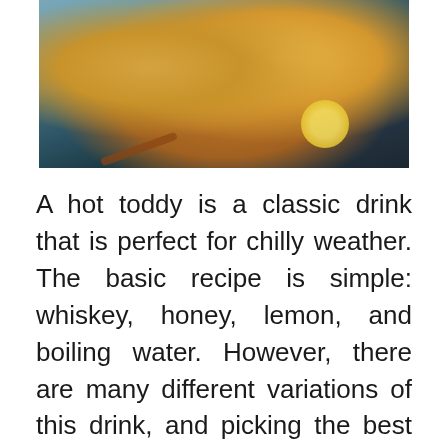[Figure (photo): Hot toddy drinks in glass mugs with lemon slices, cinnamon sticks, rosemary, and star anise on a dark wooden board with a blue-grey background]
A hot toddy is a classic drink that is perfect for chilly weather. The basic recipe is simple: whiskey, honey, lemon, and boiling water. However, there are many different variations of this drink, and picking the best whiskey for a Hot Toddy can make a big difference in the flavor. ...
READ MORE